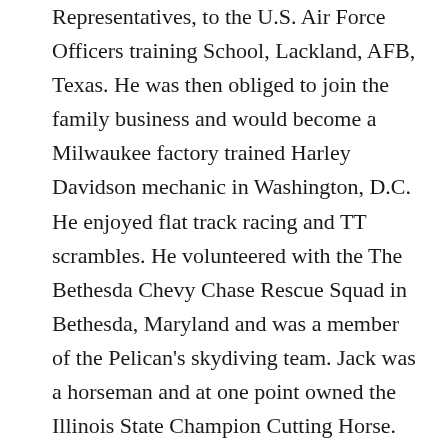Representatives, to the U.S. Air Force Officers training School, Lackland, AFB, Texas. He was then obliged to join the family business and would become a Milwaukee factory trained Harley Davidson mechanic in Washington, D.C. He enjoyed flat track racing and TT scrambles. He volunteered with the The Bethesda Chevy Chase Rescue Squad in Bethesda, Maryland and was a member of the Pelican's skydiving team. Jack was a horseman and at one point owned the Illinois State Champion Cutting Horse. Eventually his love for aviation led him to become a pilot flying crop dusters, air mail, and ultimately passenger airliners. Jack was hired with Allegheny Airlines June 2, 1969 and retired in the left seat of a USAir DC-9. Jack was an avid fisherman and hunter and